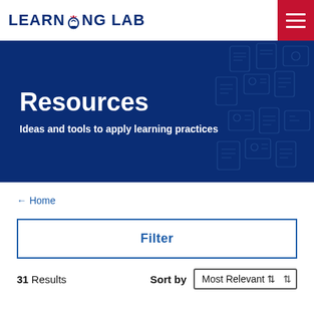LEARNING LAB
Resources
Ideas and tools to apply learning practices
← Home
Filter
31 Results   Sort by   Most Relevant